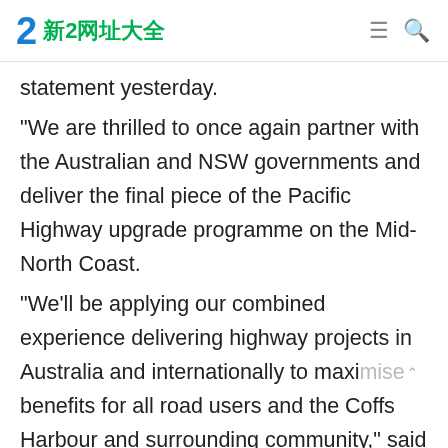新2网址大全
statement yesterday.
“We are thrilled to once again partner with the Australian and NSW governments and deliver the final piece of the Pacific Highway upgrade programme on the Mid-North Coast.
“We’ll be applying our combined experience delivering highway projects in Australia and internationally to maximise benefits for all road users and the Coffs Harbour and surrounding community,” said Ferrovial Construction Australia managing director Enrique Blanco.
Meanwhile, Gamuda Australia executive director Ewan Yee said the joint venture is focused on combining engineering smarts, environmental and sustainability innovation to ensure a positive legacy far beyond construction.